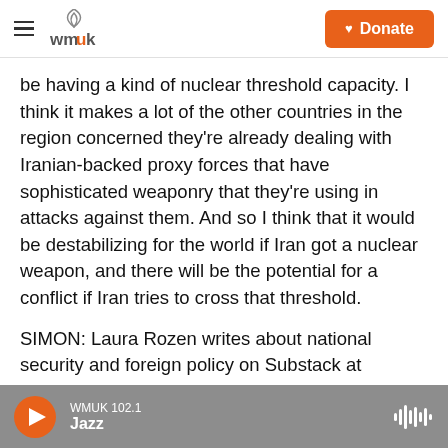WMUK — Donate
be having a kind of nuclear threshold capacity. I think it makes a lot of the other countries in the region concerned they're already dealing with Iranian-backed proxy forces that have sophisticated weaponry that they're using in attacks against them. And so I think that it would be destabilizing for the world if Iran got a nuclear weapon, and there will be the potential for a conflict if Iran tries to cross that threshold.
SIMON: Laura Rozen writes about national security and foreign policy on Substack at Diplomatic and sits on the board of the forum, Just Security.
WMUK 102.1 Jazz